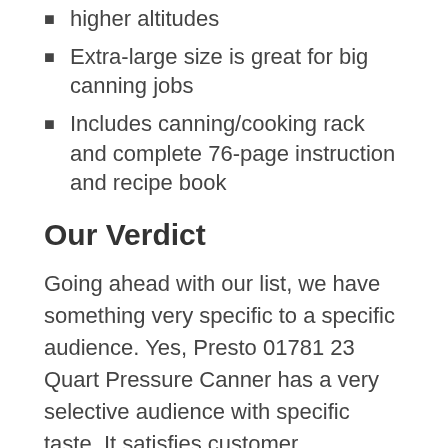higher altitudes
Extra-large size is great for big canning jobs
Includes canning/cooking rack and complete 76-page instruction and recipe book
Our Verdict
Going ahead with our list, we have something very specific to a specific audience. Yes, Presto 01781 23 Quart Pressure Canner has a very selective audience with specific taste. It satisfies customer expectations (Given that your expectations don’t cross a limit) and it adds value for money but more importantly, it adds a style to the user which can be your fashion statement.
Presto 01781 23 Quart Pressure Canner is definitely the must-buy for those who need a little of both quality and price efficiency and as per our analysis, Presto 01781 23